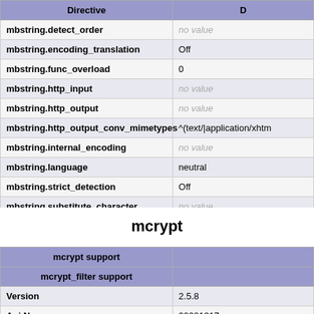| Directive | D |
| --- | --- |
| mbstring.detect_order | no value |
| mbstring.encoding_translation | Off |
| mbstring.func_overload | 0 |
| mbstring.http_input | no value |
| mbstring.http_output | no value |
| mbstring.http_output_conv_mimetypes | ^(text/|application/xhtm |
| mbstring.internal_encoding | no value |
| mbstring.language | neutral |
| mbstring.strict_detection | Off |
| mbstring.substitute_character | no value |
mcrypt
| mcrypt support |  |
| --- | --- |
| mcrypt_filter support |  |
| Version | 2.5.8 |
| Api No | 20021217 |
| Supported ciphers | cast-128 gost rijndael-1 rijndael-256 serpent xte |
| Supported modes | cbc cfb ctr ecb ncfb nof |